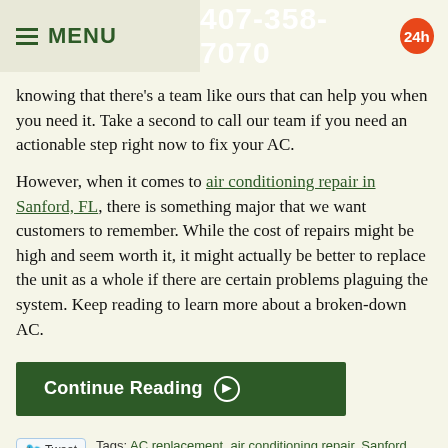MENU  407-358-7070  24h
knowing that there’s a team like ours that can help you when you need it. Take a second to call our team if you need an actionable step right now to fix your AC.
However, when it comes to air conditioning repair in Sanford, FL, there is something major that we want customers to remember. While the cost of repairs might be high and seem worth it, it might actually be better to replace the unit as a whole if there are certain problems plaguing the system. Keep reading to learn more about a broken-down AC.
Continue Reading ▶
Tags: AC replacement, air conditioning repair, Sanford
Posted in Air Conditioning | Comments Off on What You Should Remember About a Broken-Down AC